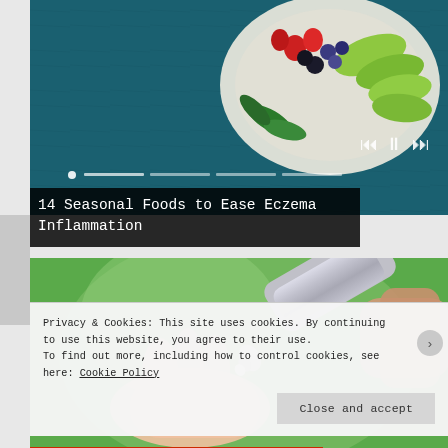[Figure (photo): Slideshow image of a plate with fresh fruits (strawberries, blueberries, blackberries) and green vegetables (avocado slices, herbs) on a dark teal wooden table background, with playback controls and progress dots at the bottom]
14 Seasonal Foods to Ease Eczema Inflammation
[Figure (photo): Close-up photo of a hand holding a silver metallic cream tube or pen-like device against a blurred green background]
Privacy & Cookies: This site uses cookies. By continuing to use this website, you agree to their use.
To find out more, including how to control cookies, see here: Cookie Policy
Close and accept